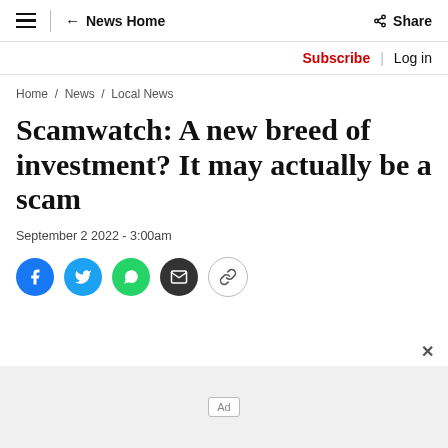≡  ← News Home   Share
Subscribe | Log in
Home / News / Local News
Scamwatch: A new breed of investment? It may actually be a scam
September 2 2022 - 3:00am
[Social share buttons: Facebook, Twitter, WhatsApp, Email, Link]
Ad